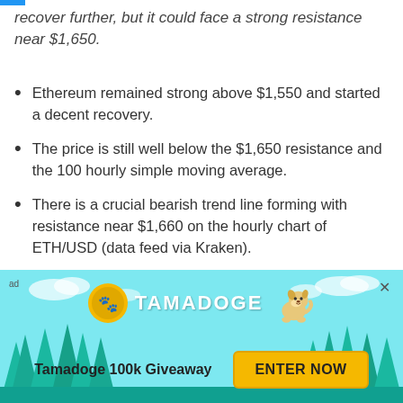recover further, but it could face a strong resistance near $1,650.
Ethereum remained strong above $1,550 and started a decent recovery.
The price is still well below the $1,650 resistance and the 100 hourly simple moving average.
There is a crucial bearish trend line forming with resistance near $1,660 on the hourly chart of ETH/USD (data feed via Kraken).
The pair could correct higher, but it is likely to face a strong selling interest near $1,650 and $1,660.
[Figure (infographic): Tamadoge 100k Giveaway advertisement banner with teal background, pine trees, clouds, Tamadoge logo with coin icon and cartoon dog. Enter Now button in yellow.]